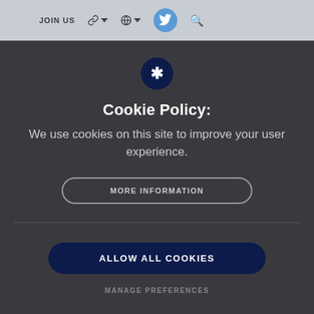JOIN US
[Figure (screenshot): Cookie policy modal dialog on a dark background with navigation bar at top]
Cookie Policy:
We use cookies on this site to improve your user experience.
MORE INFORMATION
ALLOW ALL COOKIES
MANAGE PREFERENCES